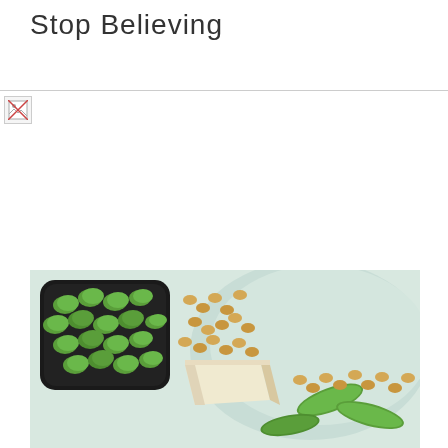Stop Believing
[Figure (photo): Broken/missing image placeholder icon]
[Figure (photo): Food photography showing edamame in a dark bowl, soybeans, tofu block, and green soybean pods on a light background]